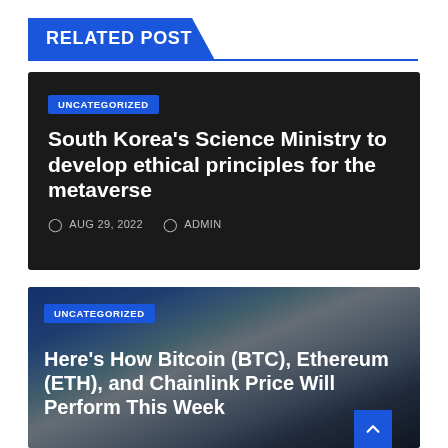RELATED POST
[Figure (screenshot): Dark card with 'UNCATEGORIZED' badge. Article title: South Korea's Science Ministry to develop ethical principles for the metaverse. Meta: AUG 29, 2022 · ADMIN]
South Korea's Science Ministry to develop ethical principles for the metaverse
AUG 29, 2022   ADMIN
[Figure (photo): Dark card with crypto image background showing Bitcoin, Ethereum, Chainlink logos. Badge: UNCATEGORIZED. Title: Here's How Bitcoin (BTC), Ethereum (ETH), and Chainlink Price Will Perform This Week]
Here's How Bitcoin (BTC), Ethereum (ETH), and Chainlink Price Will Perform This Week